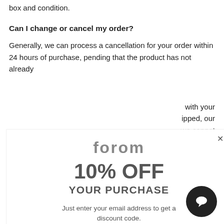box and condition.
Can I change or cancel my order?
Generally, we can process a cancellation for your order within 24 hours of purchase, pending that the product has not already
with your
ipped, our
we cannot
itely no
pre-orders.
USPS, UPS,
m the outside, pping provider proval of the re e a
replacement. We suggest you always be present for
[Figure (infographic): Modal popup for Forom brand with 10% OFF discount offer. Contains Forom logo, '10% OFF YOUR PURCHASE' text, description 'Just enter your email address to get a discount code.', an email input field, and a 'GET DISCOUNT CODE NOW' button. Has a close X button in top right.]